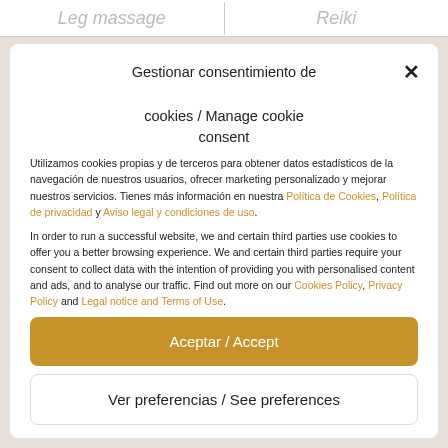Leg massage | Reiki
Gestionar consentimiento de cookies / Manage cookie consent
Utilizamos cookies propias y de terceros para obtener datos estadísticos de la navegación de nuestros usuarios, ofrecer marketing personalizado y mejorar nuestros servicios. Tienes más información en nuestra Política de Cookies, Política de privacidad y Aviso legal y condiciones de uso.
In order to run a successful website, we and certain third parties use cookies to offer you a better browsing experience. We and certain third parties require your consent to collect data with the intention of providing you with personalised content and ads, and to analyse our traffic. Find out more on our Cookies Policy, Privacy Policy and Legal notice and Terms of Use.
Aceptar / Accept
Ver preferencias / See preferences